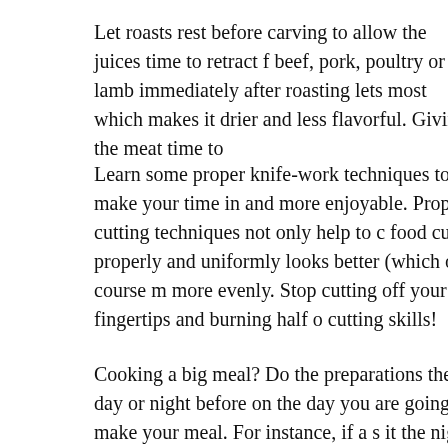Let roasts rest before carving to allow the juices time to retract f beef, pork, poultry or lamb immediately after roasting lets most which makes it drier and less flavorful. Giving the meat time to
Learn some proper knife-work techniques to make your time in and more enjoyable. Proper cutting techniques not only help to c food cut properly and uniformly looks better (which of course m more evenly. Stop cutting off your fingertips and burning half o cutting skills!
Cooking a big meal? Do the preparations the day or night before on the day you are going to make your meal. For instance, if a s it the night before.
Cooking is all about preparation. To take the edge of cooking, w simple dish, full nine course meal, or elegant dessert, prepare fo Plan what you are going to make and for how many people you your ingredients ahead of time to ensure that you won't have to